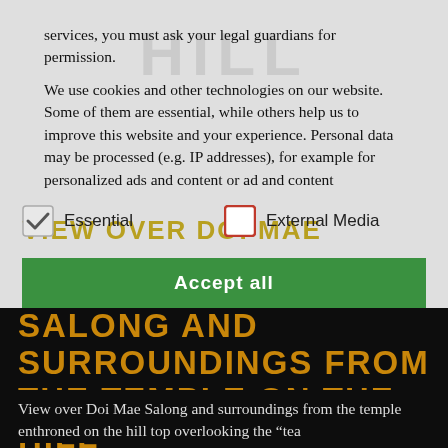services, you must ask your legal guardians for permission.
We use cookies and other technologies on our website. Some of them are essential, while others help us to improve this website and your experience. Personal data may be processed (e.g. IP addresses), for example for personalized ads and content or ad and content
Essential
External Media
VIEW OVER DOI MAE SALONG AND SURROUNDINGS FROM THE TEMPLE ON THE HILL
View over Doi Mae Salong and surroundings from the temple enthroned on the hill top overlooking the "tea